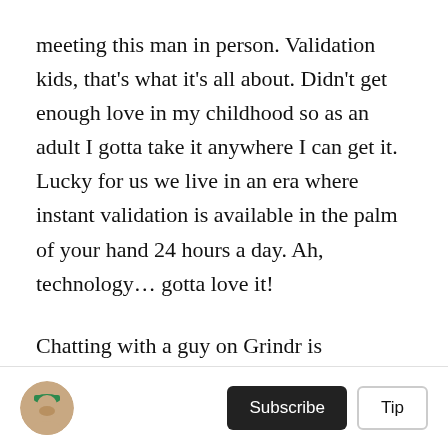meeting this man in person. Validation kids, that's what it's all about. Didn't get enough love in my childhood so as an adult I gotta take it anywhere I can get it. Lucky for us we live in an era where instant validation is available in the palm of your hand 24 hours a day. Ah, technology… gotta love it!
Chatting with a guy on Grindr is obviously nothing new or crazy, but getting a message that reads "so is that you that I'm watching jerk off through your bedroom window right now" is a bit much to say the least. It was not me, believe it or not, but I continued chatting with him anyway. He seemed nice and was